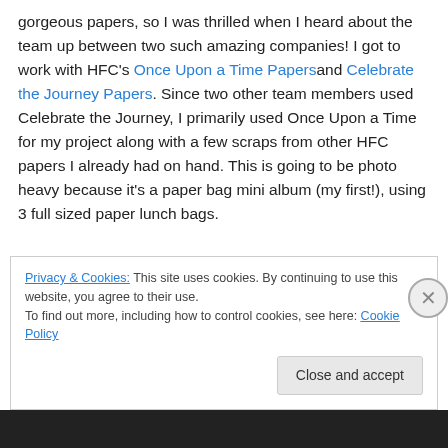gorgeous papers, so I was thrilled when I heard about the team up between two such amazing companies! I got to work with HFC's Once Upon a Time Papers and Celebrate the Journey Papers. Since two other team members used Celebrate the Journey, I primarily used Once Upon a Time for my project along with a few scraps from other HFC papers I already had on hand. This is going to be photo heavy because it's a paper bag mini album (my first!), using 3 full sized paper lunch bags.
For the cover, I also used these products by Creative
Privacy & Cookies: This site uses cookies. By continuing to use this website, you agree to their use. To find out more, including how to control cookies, see here: Cookie Policy
Close and accept